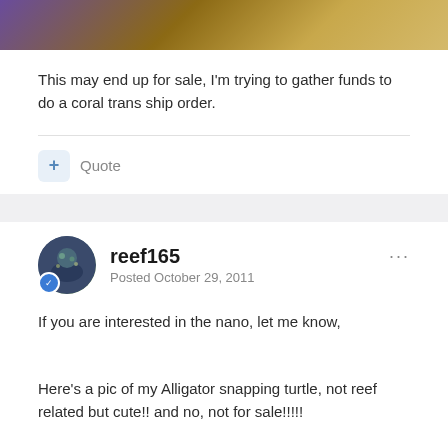[Figure (photo): Partial photo of a room with blue/purple lighting and golden/wood textures, cropped at top of page]
This may end up for sale, I'm trying to gather funds to do a coral trans ship order.
reef165
Posted October 29, 2011
If you are interested in the nano, let me know,
Here's a pic of my Alligator snapping turtle, not reef related but cute!! and no, not for sale!!!!!